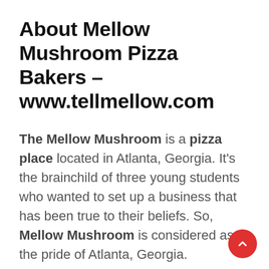About Mellow Mushroom Pizza Bakers – www.tellmellow.com
The Mellow Mushroom is a pizza place located in Atlanta, Georgia. It's the brainchild of three young students who wanted to set up a business that has been true to their beliefs. So, Mellow Mushroom is considered as the pride of Atlanta, Georgia.
The pizzeria originated in a specific location on Spring Street in 1974, but the area proved to be so successful that more outlets were